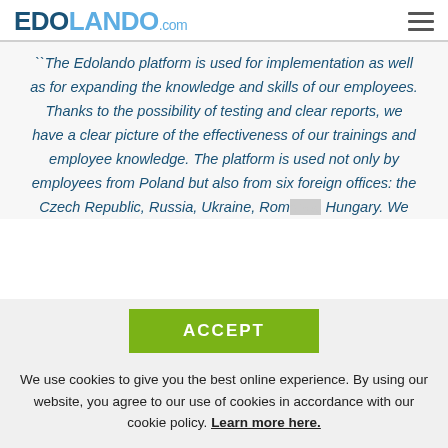EDOLANDO.com
``The Edolando platform is used for implementation as well as for expanding the knowledge and skills of our employees. Thanks to the possibility of testing and clear reports, we have a clear picture of the effectiveness of our trainings and employee knowledge. The platform is used not only by employees from Poland but also from six foreign offices: the Czech Republic, Russia, Ukraine, Rom... Hungary. We
ACCEPT
We use cookies to give you the best online experience. By using our website, you agree to our use of cookies in accordance with our cookie policy. Learn more here.